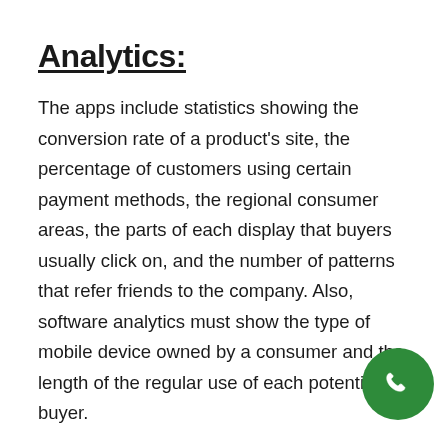Analytics:
The apps include statistics showing the conversion rate of a product's site, the percentage of customers using certain payment methods, the regional consumer areas, the parts of each display that buyers usually click on, and the number of patterns that refer friends to the company. Also, software analytics must show the type of mobile device owned by a consumer and the length of the regular use of each potential buyer.